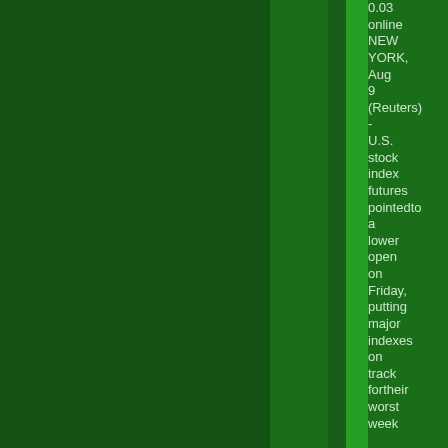0.03 online NEW YORK, Aug 9 (Reuters) - U.S. stock index futures pointed to a lower open on Friday, putting major indexes on track for their worst week